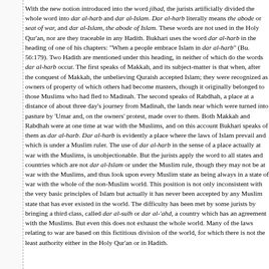With the new notion introduced into the word jihad, the jurists artificially divided the whole word into dar al-harb and dar al-Islam. Dar al-harb literally means the abode or seat of war, and dar al-Islam, the abode of Islam. These words are not used in the Holy Qur'an, nor are they traceable in any Hadith. Bukhari uses the word dar al-harb in the heading of one of his chapters: "When a people embrace Islam in dar al-harb" (Bu. 56:179). Two Hadith are mentioned under this heading, in neither of which do the words dar al-harb occur. The first speaks of Makkah, and its subject-matter is that when, after the conquest of Makkah, the unbelieving Quraish accepted Islam; they were recognized as owners of property of which others had become masters, though it originally belonged to those Muslims who had fled to Madinah. The second speaks of Rabdhah, a place at a distance of about three day's journey from Madinah, the lands near which were turned into pasture by 'Umar and, on the owners' protest, made over to them. Both Makkah and Rabdhah were at one time at war with the Muslims, and on this account Bukhari speaks of them as dar al-harb. Dar al-harb is evidently a place where the laws of Islam prevail and which is under a Muslim ruler. The use of dar al-harb in the sense of a place actually at war with the Muslims, is unobjectionable. But the jurists apply the word to all states and countries which are not dar al-Islam or under the Muslim rule, though they may not be at war with the Muslims, and thus look upon every Muslim state as being always in a state of war with the whole of the non-Muslim world. This position is not only inconsistent with the very basic principles of Islam but actually it has never been accepted by any Muslim state that has ever existed in the world. The difficulty has been met by some jurists by bringing a third class, called dar al-sulh or dar al-'ahd, a country which has an agreement with the Muslims. But even this does not exhaust the whole world. Many of the laws relating to war are based on this fictitious division of the world, for which there is not the least authority either in the Holy Qur'an or in Hadith.